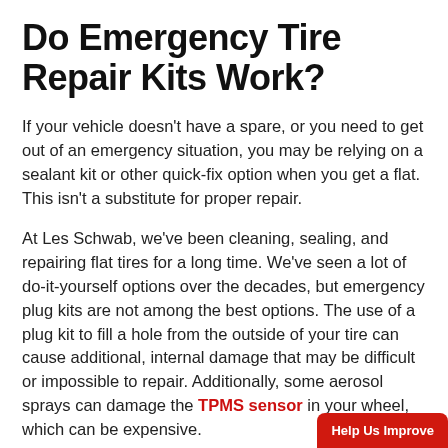Do Emergency Tire Repair Kits Work?
If your vehicle doesn't have a spare, or you need to get out of an emergency situation, you may be relying on a sealant kit or other quick-fix option when you get a flat. This isn't a substitute for proper repair.
At Les Schwab, we've been cleaning, sealing, and repairing flat tires for a long time. We've seen a lot of do-it-yourself options over the decades, but emergency plug kits are not among the best options. The use of a plug kit to fill a hole from the outside of your tire can cause additional, internal damage that may be difficult or impossible to repair. Additionally, some aerosol sprays can damage the TPMS sensor in your wheel, which can be expensive.
Bring Your Flat Tires to L…